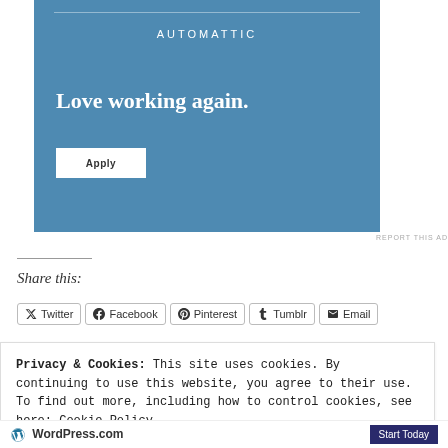[Figure (other): Automattic job advertisement banner with blue background, logo at top, tagline 'Love working again.' and an Apply button]
REPORT THIS AD
Share this:
Twitter  Facebook  Pinterest  Tumblr  Email
Privacy & Cookies: This site uses cookies. By continuing to use this website, you agree to their use.
To find out more, including how to control cookies, see here: Cookie Policy
Close and accept
WordPress.com  Start Today